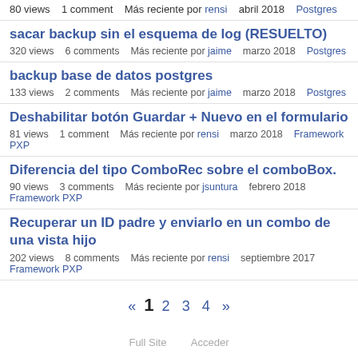80 views   1 comment   Más reciente por rensi   abril 2018   Postgres
sacar backup sin el esquema de log (RESUELTO)
320 views   6 comments   Más reciente por jaime   marzo 2018   Postgres
backup base de datos postgres
133 views   2 comments   Más reciente por jaime   marzo 2018   Postgres
Deshabilitar botón Guardar + Nuevo en el formulario
81 views   1 comment   Más reciente por rensi   marzo 2018   Framework PXP
Diferencia del tipo ComboRec sobre el comboBox.
90 views   3 comments   Más reciente por jsuntura   febrero 2018   Framework PXP
Recuperar un ID padre y enviarlo en un combo de una vista hijo
202 views   8 comments   Más reciente por rensi   septiembre 2017   Framework PXP
« 1 2 3 4 »
Full Site   Acceder
[Figure (logo): Vanilla Forums logo]